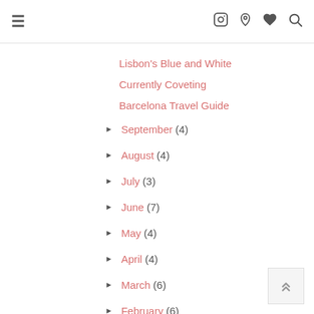≡  [Instagram] [Pinterest] [Heart] [Search]
Lisbon's Blue and White
Currently Coveting
Barcelona Travel Guide
► September (4)
► August (4)
► July (3)
► June (7)
► May (4)
► April (4)
► March (6)
► February (6)
► January (2)
► 2015 (81)